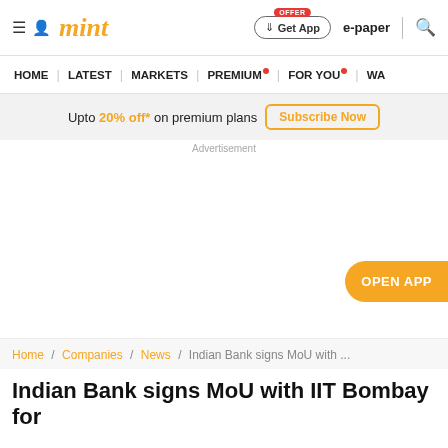mint
HOME | LATEST | MARKETS | PREMIUM | FOR YOU | WA
Upto 20% off* on premium plans  Subscribe Now
Advertisement
OPEN APP
Home / Companies / News / Indian Bank signs MoU with ...
Indian Bank signs MoU with IIT Bombay for